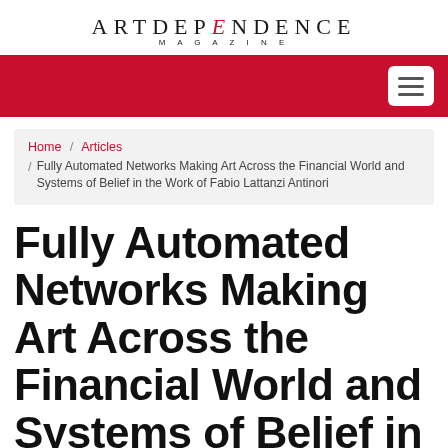ARTDEPENDENCE MAGAZINE
[Figure (other): Red navigation bar with white hamburger menu button]
Home / Articles / Fully Automated Networks Making Art Across the Financial World and Systems of Belief in the Work of Fabio Lattanzi Antinori
Fully Automated Networks Making Art Across the Financial World and Systems of Belief in the